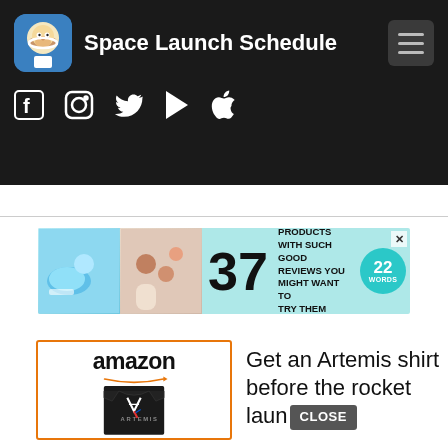Space Launch Schedule
[Figure (screenshot): Space Launch Schedule app header with logo (monkey astronaut), site title, hamburger menu, and social media icons for Facebook, Instagram, Twitter, Google Play, and Apple]
[Figure (infographic): Advertisement banner: 37 Beauty Products With Such Good Reviews You Might Want To Try Them Yourself - 22 Words]
[Figure (infographic): Amazon advertisement showing an Artemis t-shirt with text 'Get an Artemis shirt before the rocket launch' with CLOSE button]